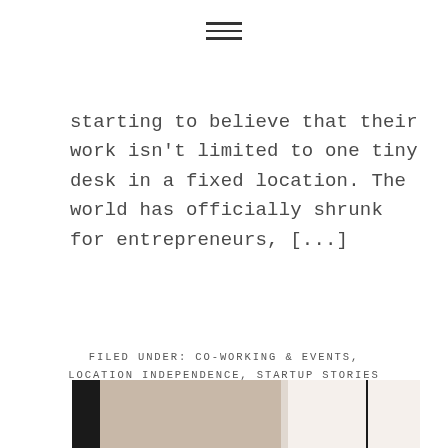[hamburger menu icon]
starting to believe that their work isn't limited to one tiny desk in a fixed location. The world has officially shrunk for entrepreneurs, [...]
FILED UNDER: CO-WORKING & EVENTS, LOCATION INDEPENDENCE, STARTUP STORIES TAGGED WITH: CROATIA, DIGITAL NOMADS, INSPIRATION, INTERVIEW, LOCATION INDEPENDENT, REMOTE WORKING, TRAVEL, TRAVELLING, WORK ABROAD, WORK LIFE BALANCE
[Figure (photo): Partial view of an interior photo at the bottom of the page, showing dark vertical bars and a window or wall section]